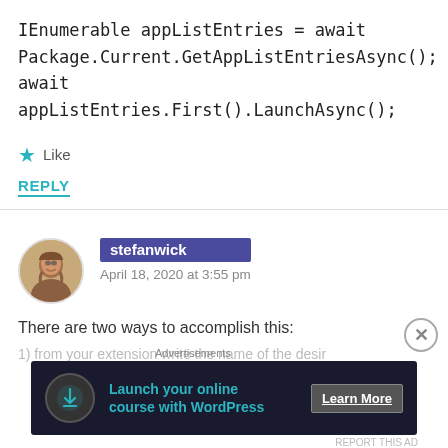IEnumerable appListEntries = await Package.Current.GetAppListEntriesAsync();
await appListEntries.First().LaunchAsync();
★ Like
REPLY
stefanwick
April 18, 2020 at 3:55 pm
There are two ways to accomplish this:
1) from your extension write the name of the desir...
[Figure (infographic): Advertisement banner: 'Launch your online course with WordPress' with Learn More button]